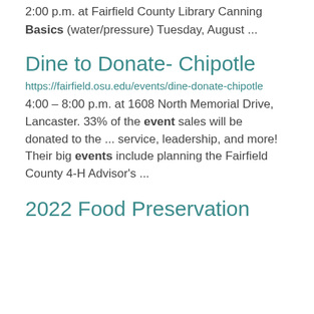2:00 p.m. at Fairfield County Library Canning Basics (water/pressure) Tuesday, August ...
Dine to Donate- Chipotle
https://fairfield.osu.edu/events/dine-donate-chipotle
4:00 – 8:00 p.m. at 1608 North Memorial Drive, Lancaster. 33% of the event sales will be donated to the ... service, leadership, and more! Their big events include planning the Fairfield County 4-H Advisor's ...
2022 Food Preservation